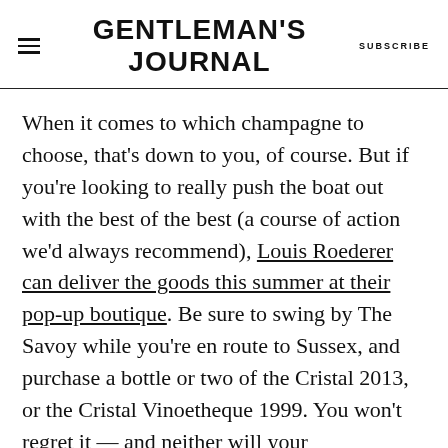GENTLEMAN'S JOURNAL  SUBSCRIBE
When it comes to which champagne to choose, that's down to you, of course. But if you're looking to really push the boat out with the best of the best (a course of action we'd always recommend), Louis Roederer can deliver the goods this summer at their pop-up boutique. Be sure to swing by The Savoy while you're en route to Sussex, and purchase a bottle or two of the Cristal 2013, or the Cristal Vinoetheque 1999. You won't regret it — and neither will your Glyndebourne party.